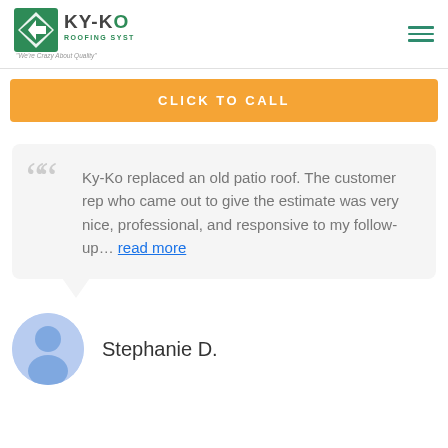[Figure (logo): KY-KO Roofing Systems logo with tagline 'We're Crazy About Quality']
CLICK TO CALL
Ky-Ko replaced an old patio roof. The customer rep who came out to give the estimate was very nice, professional, and responsive to my follow-up… read more
Stephanie D.